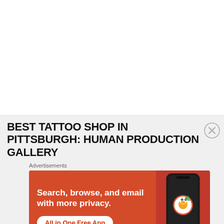[Figure (other): White content area, top portion of webpage]
BEST TATTOO SHOP IN PITTSBURGH: HUMAN PRODUCTION GALLERY
Advertisements
[Figure (infographic): DuckDuckGo advertisement banner with orange background. Text: Search, browse, and email with more privacy. All in One Free App. Shows a phone with DuckDuckGo app.]